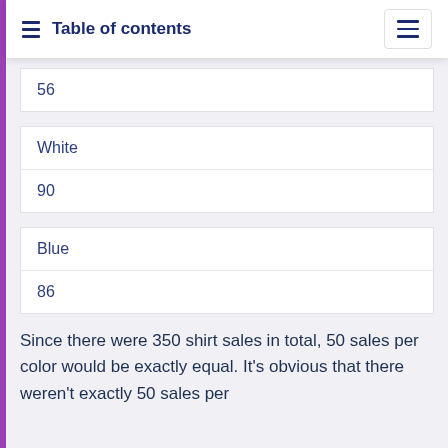Table of contents
| 56 |
| White | 90 |
| Blue | 86 |
Since there were 350 shirt sales in total, 50 sales per color would be exactly equal. It's obvious that there weren't exactly 50 sales per